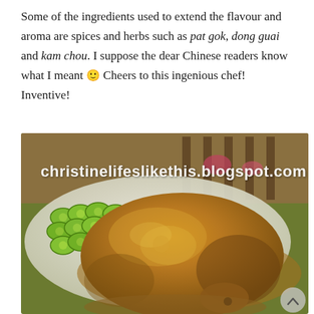Some of the ingredients used to extend the flavour and aroma are spices and herbs such as pat gok, dong guai and kam chou. I suppose the dear Chinese readers know what I meant 🙂 Cheers to this ingenious chef! Inventive!
[Figure (photo): Close-up photo of braised soy sauce chicken on a plate garnished with sliced cucumbers arranged in a scallop pattern. The chicken appears glazed and golden-brown. A watermark reads 'christinelifeslikethis.blogspot.com' in white text.]